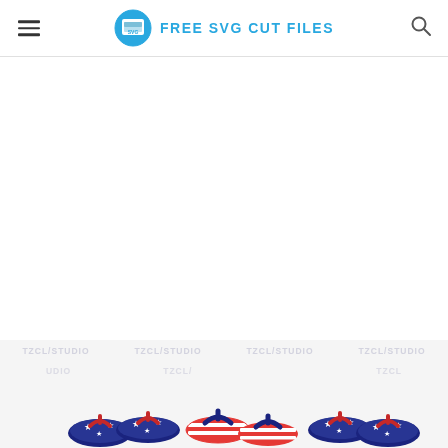FREE SVG CUT FILES
Https Encrypted Tbn0 Gstatic Com Images Q Tbn 3aand9gcqoulz8cmdmtj4i2di5wfejwjfp2yp3mwbj9z7ugetp7uw3 2qun Usqp Cau
[Figure (illustration): Patriotic flip flop sandals with American flag pattern (stars and stripes in red, white, blue) arranged in a row, with repeating watermark text 'TZCL/STUDIO' overlaid]